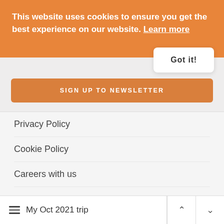This website uses cookies to ensure you get the best experience on our website. Learn more
Got it!
SIGN UP TO NEWSLETTER
Privacy Policy
Cookie Policy
Careers with us
Holidays ▾
Google Maps ▾
Reference Maps ▾
My Oct 2021 trip